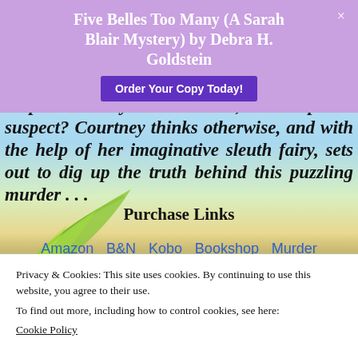Five Belles Too Many (A Sarah Blair Mystery) by Debra H. Goldstein
in public really be the killer, as the police suspect? Courtney thinks otherwise, and with the help of her imaginative sleuth fairy, sets out to dig up the truth behind this puzzling murder . . .
Purchase Links
Amazon  B&N  Kobo  Bookshop  Murder
Privacy & Cookies: This site uses cookies. By continuing to use this website, you agree to their use.
To find out more, including how to control cookies, see here:
Cookie Policy
Close and accept